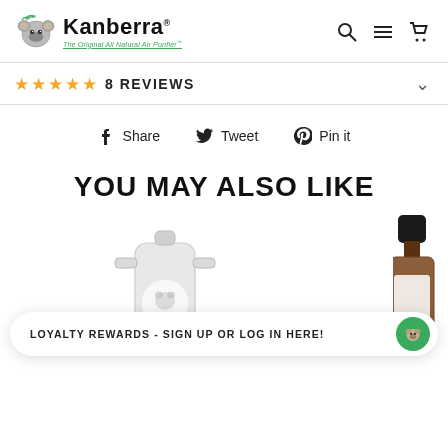Kanberra — The Original All Natural Air Purifier
★★★★★ 8 REVIEWS
f Share   Tweet   Pin it
YOU MAY ALSO LIKE
[Figure (photo): Product image of a clear plastic refill pouch]
[Figure (photo): Product image of an amber glass bottle with black cap]
LOYALTY REWARDS - SIGN UP OR LOG IN HERE!